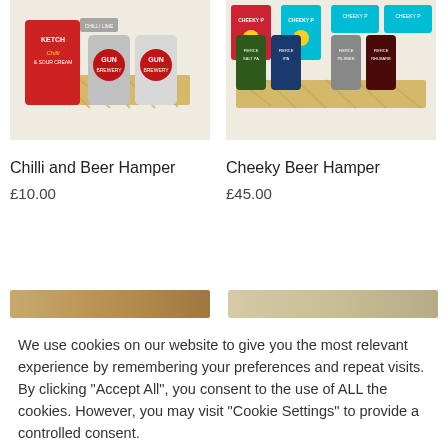[Figure (photo): Photo of Chilli and Beer Hamper box with red chilli cans and beer cans on straw.]
[Figure (photo): Photo of Cheeky Beer Hamper box with multiple beer cans and snack packets arranged on straw.]
Chilli and Beer Hamper
£10.00
Cheeky Beer Hamper
£45.00
We use cookies on our website to give you the most relevant experience by remembering your preferences and repeat visits. By clicking "Accept All", you consent to the use of ALL the cookies. However, you may visit "Cookie Settings" to provide a controlled consent.